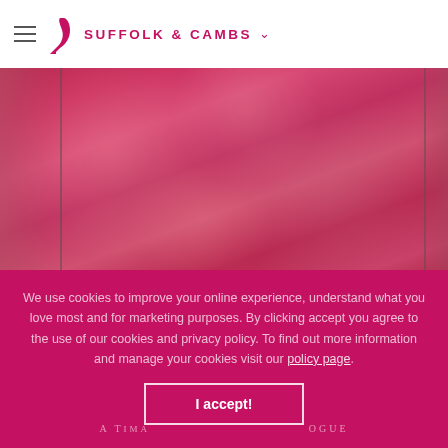SUFFOLK & CAMBS
[Figure (photo): Close-up photo of women wearing sparkling pink/red sequin dresses]
MUDDY'S 10 BEST BOOKS OF 2019
So many rip-roaring reads, so little time. But Muddy's books editor Kerry Potter has made it easy for you - here's her definitive list of the year's best books. Get stuck in!
We use cookies to improve your online experience, understand what you love most and for marketing purposes. By clicking accept you agree to the use of our cookies and privacy policy. To find out more information and manage your cookies visit our policy page.
I accept!